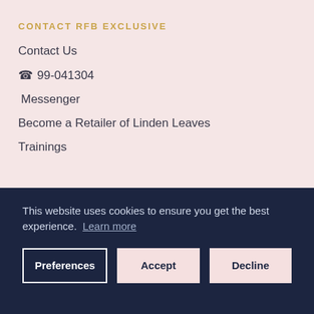CONTACT RFB EXCLUSIVE
Contact Us
☎ 99-041304
Messenger
Become a Retailer of Linden Leaves
Trainings
This website uses cookies to ensure you get the best experience. Learn more
Preferences | Accept | Decline